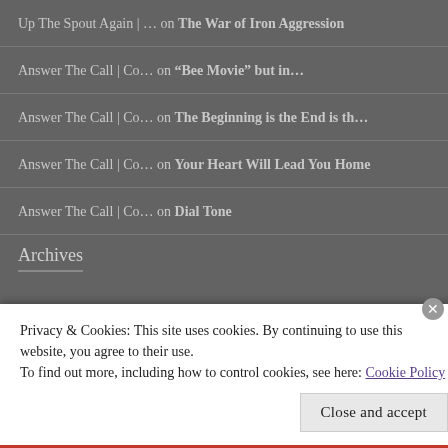Up The Spout Again | … on The War of Iron Aggression
Answer The Call | Co… on “Bee Movie” but in…
Answer The Call | Co… on The Beginning is the End is th…
Answer The Call | Co… on Your Heart Will Lead You Home
Answer The Call | Co… on Dial Tone
Archives
Privacy & Cookies: This site uses cookies. By continuing to use this website, you agree to their use.
To find out more, including how to control cookies, see here: Cookie Policy
Close and accept